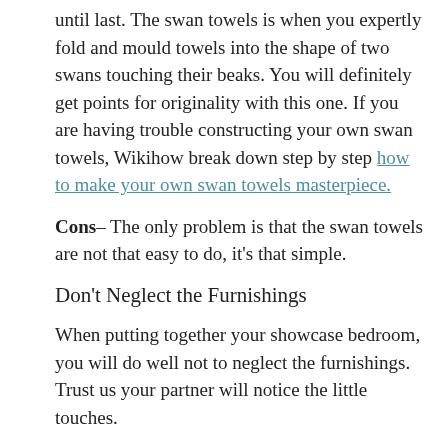until last. The swan towels is when you expertly fold and mould towels into the shape of two swans touching their beaks. You will definitely get points for originality with this one. If you are having trouble constructing your own swan towels, Wikihow break down step by step how to make your own swan towels masterpiece.
Cons– The only problem is that the swan towels are not that easy to do, it's that simple.
Don't Neglect the Furnishings
When putting together your showcase bedroom, you will do well not to neglect the furnishings. Trust us your partner will notice the little touches.
Whether you have a perfectly lined up set of Birlea tables or one of our Serene Furnishings dining tables, one of these extra little touches will make all the difference.